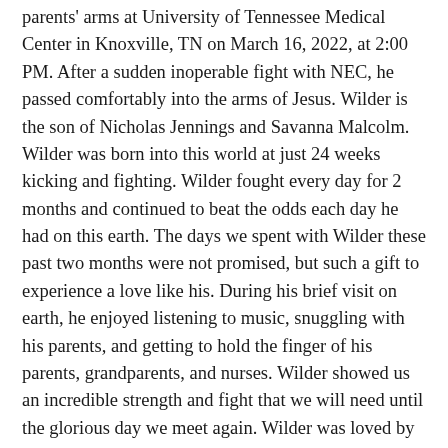parents' arms at University of Tennessee Medical Center in Knoxville, TN on March 16, 2022, at 2:00 PM. After a sudden inoperable fight with NEC, he passed comfortably into the arms of Jesus. Wilder is the son of Nicholas Jennings and Savanna Malcolm. Wilder was born into this world at just 24 weeks kicking and fighting. Wilder fought every day for 2 months and continued to beat the odds each day he had on this earth. The days we spent with Wilder these past two months were not promised, but such a gift to experience a love like his. During his brief visit on earth, he enjoyed listening to music, snuggling with his parents, and getting to hold the finger of his parents, grandparents, and nurses. Wilder showed us an incredible strength and fight that we will need until the glorious day we meet again. Wilder was loved by not only those who had the chance to meet him, but also by those who knew his story. He will be greatly missed by so many people whose hearts he touched. Wilder is survived by his parents Nicholas Jennings and Savanna Malcolm, his grandparents Mike Malcolm, Traci and Steve Jennings, great grandparents Don and Betty Wear (Nana and Pop) and Kris and Gerald Hudson, and all of his aunts, uncles, and cousins. In lieu of flowers the family requests donations to help with expenses